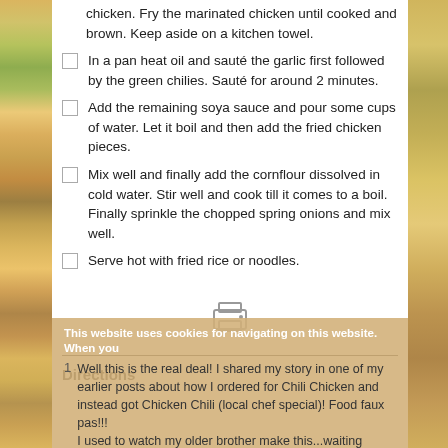chicken. Fry the marinated chicken until cooked and brown. Keep aside on a kitchen towel.
In a pan heat oil and sauté the garlic first followed by the green chilies. Sauté for around 2 minutes.
Add the remaining soya sauce and pour some cups of water. Let it boil and then add the fried chicken pieces.
Mix well and finally add the cornflour dissolved in cold water. Stir well and cook till it comes to a boil. Finally sprinkle the chopped spring onions and mix well.
Serve hot with fried rice or noodles.
[Figure (illustration): Print icon (printer symbol)]
Directions
This website uses cookies for navigating on this website. When you
Well this is the real deal! I shared my story in one of my earlier posts about how I ordered for Chili Chicken and instead got Chicken Chili (local chef special)! Food faux pas!!! I used to watch my older brother make this...waiting impatiently to start eating. It is amazing how some dishes, even after years,
OK    NO    Privacy Policy